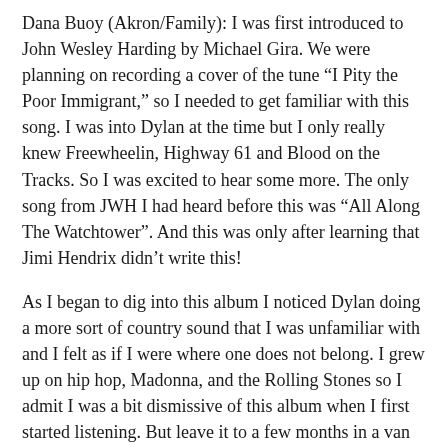Dana Buoy (Akron/Family): I was first introduced to John Wesley Harding by Michael Gira. We were planning on recording a cover of the tune “I Pity the Poor Immigrant,” so I needed to get familiar with this song. I was into Dylan at the time but I only really knew Freewheelin, Highway 61 and Blood on the Tracks. So I was excited to hear some more. The only song from JWH I had heard before this was “All Along The Watchtower”. And this was only after learning that Jimi Hendrix didn’t write this!
As I began to dig into this album I noticed Dylan doing a more sort of country sound that I was unfamiliar with and I felt as if I were where one does not belong. I grew up on hip hop, Madonna, and the Rolling Stones so I admit I was a bit dismissive of this album when I first started listening. But leave it to a few months in a van with only a handful of CD’s to give something new a try. We would put this record